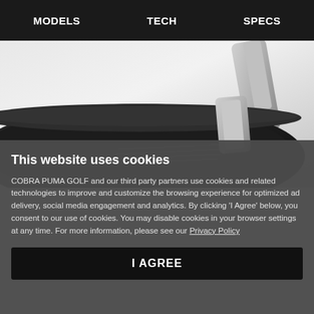MODELS   TECH   SPECS
[Figure (photo): Close-up photo of a black and silver Cobra Puma golf club iron head, showing 'HOTFACE' text on the club face]
This website uses cookies
COBRA PUMA GOLF and our third party partners use cookies and related technologies to improve and customize the browsing experience for optimized ad delivery, social media engagement and analytics. By clicking 'I Agree' below, you consent to our use of cookies. You may disable cookies in your browser settings at any time. For more information, please see our Privacy Policy
I AGREE